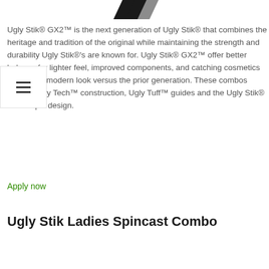[Figure (logo): Ugly Stik brand logo mark - black angular checkmark/arrow shape at top center]
Ugly Stik® GX2™ is the next generation of Ugly Stik® that combines the heritage and tradition of the original while maintaining the strength and durability Ugly Stik®'s are known for. Ugly Stik® GX2™ offer better balance for lighter feel, improved components, and catching cosmetics for a more modern look versus the prior generation. These combos feature Ugly Tech™ construction, Ugly Tuff™ guides and the Ugly Stik® Clear Tip® design.
Apply now
Ugly Stik Ladies Spincast Combo